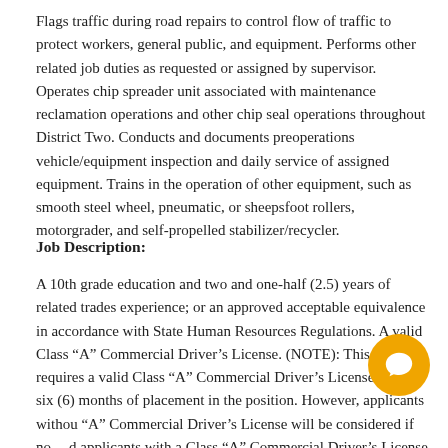Flags traffic during road repairs to control flow of traffic to protect workers, general public, and equipment. Performs other related job duties as requested or assigned by supervisor. Operates chip spreader unit associated with maintenance reclamation operations and other chip seal operations throughout District Two. Conducts and documents preoperations vehicle/equipment inspection and daily service of assigned equipment. Trains in the operation of other equipment, such as smooth steel wheel, pneumatic, or sheepsfoot rollers, motorgrader, and self-propelled stabilizer/recycler.
Job Description:
A 10th grade education and two and one-half (2.5) years of related trades experience; or an approved acceptable equivalence in accordance with State Human Resources Regulations. A valid Class “A” Commercial Driver’s License. (NOTE): This position requires a valid Class “A” Commercial Driver’s License within six (6) months of placement in the position. However, applicants without a Class “A” Commercial Driver’s License will be considered if no qualified applicants with a Class “A” Commercial Driver’s License are